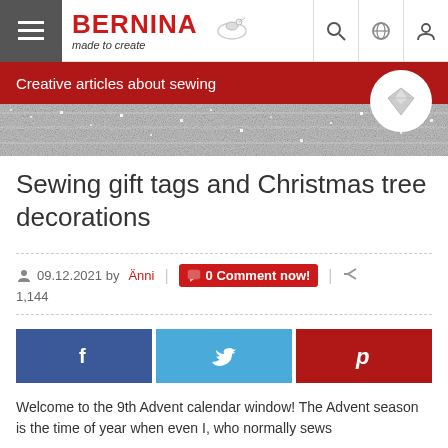BERNINA — made to create
Creative articles about sewing
Sewing gift tags and Christmas tree decorations
09.12.2021 by Änni | 0 Comment now! | 1,144
[Figure (other): Facebook, Twitter, and Pinterest share buttons]
Welcome to the 9th Advent calendar window! The Advent season is the time of year when even I, who normally sews